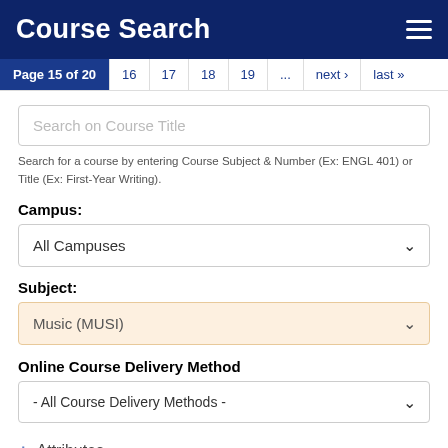Course Search
Page 15 of 20  16  17  18  19  ...  next ›  last »
Search on Course Title
Search for a course by entering Course Subject & Number (Ex: ENGL 401) or Title (Ex: First-Year Writing).
Campus:
All Campuses
Subject:
Music (MUSI)
Online Course Delivery Method
- All Course Delivery Methods -
+ Attributes
+ Times & Locations